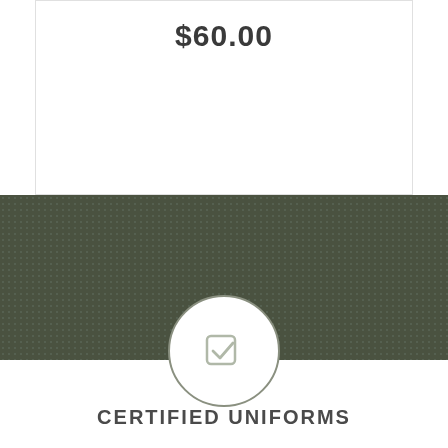$60.00
[Figure (illustration): Dark olive green textured band/divider with dotted pattern]
[Figure (illustration): Circular icon with a checkbox checkmark symbol inside, outlined circle border in olive/grey color]
USMC
CERTIFIED UNIFORMS